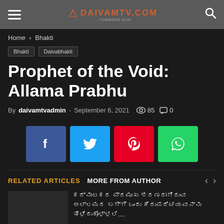DAIVAMTV.COM — towards god
Home › Bhakti
Bhakti
Daivabhakti
Prophet of the Void: Allama Prabhu
By daivamtvadmin - September 6, 2021  85  0
[Figure (infographic): Social share buttons: Facebook (blue), Twitter (cyan), Pinterest (red), WhatsApp (green)]
RELATED ARTICLES   MORE FROM AUTHOR
ಕರ್ನಾಟಕದ ಪ್ರಮುಖ ಶರಣರಾಗಿರುವ ಅಲ್ಲಮರ ಬಗ್ಗೆ ಒಂದು ಲೇಖನ....
Bhakti